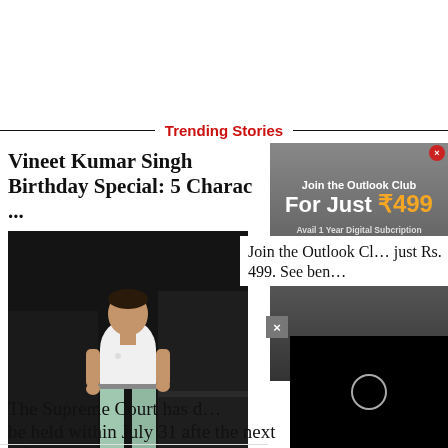Trending Stories
Vineet Kumar Singh Birthday Special: 5 Charac ...
[Figure (photo): Photo of Vineet Kumar Singh standing in a dark room, wearing a white t-shirt and light blue pants]
[Figure (infographic): Outlook Club subscription advertisement banner: Join the Outlook Club For Just ₹499, Avail 1 Year Digital Subscription + Gift Vouchers Worth ₹10,000 & More]
Join the Outlook Cl… just Rs 499. See ben…
The Supreme Court has d… be held within July 31 after the next left AIFF…